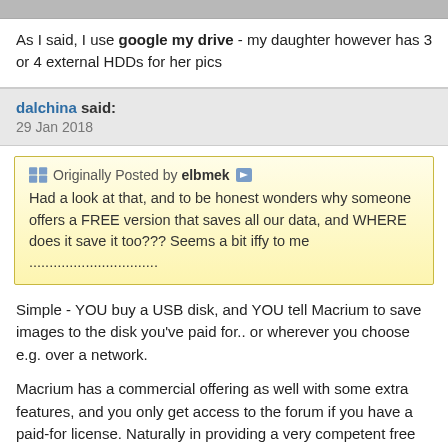As I said, I use google my drive - my daughter however has 3 or 4 external HDDs for her pics
dalchina said:
29 Jan 2018
Originally Posted by elbmek
Had a look at that, and to be honest wonders why someone offers a FREE version that saves all our data, and WHERE does it save it too??? Seems a bit iffy to me ................................
Simple - YOU buy a USB disk, and YOU tell Macrium to save images to the disk you've paid for.. or wherever you choose e.g. over a network.
Macrium has a commercial offering as well with some extra features, and you only get access to the forum if you have a paid-for license. Naturally in providing a very competent free program they hope you'll buy a license.